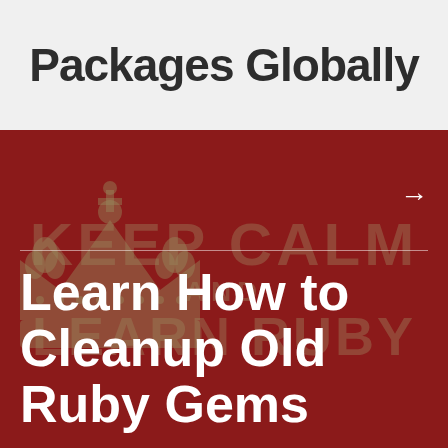Packages Globally
[Figure (illustration): Dark red banner with 'Keep Calm and Learn Ruby' watermark crown illustration and white text overlay reading 'Learn How to Cleanup Old Ruby Gems'. Arrow pointing right in top-right corner.]
Learn How to Cleanup Old Ruby Gems